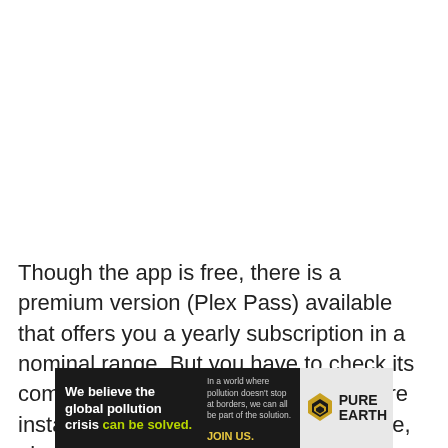Though the app is free, there is a premium version (Plex Pass) available that offers you a yearly subscription in a nominal range. But you have to check its compatibility with your hardware. Before installing any software in your hardware, always make sure whether it is compatible or not.
[Figure (infographic): Advertisement banner for Pure Earth organization. Black background on left showing text 'We believe the global pollution crisis can be solved.' Middle section with smaller text 'In a world where pollution doesn't stop at borders, we can all be part of the solution. JOIN US.' Right section with light background showing Pure Earth logo with diamond/mountain icon and bold text 'PURE EARTH'.]